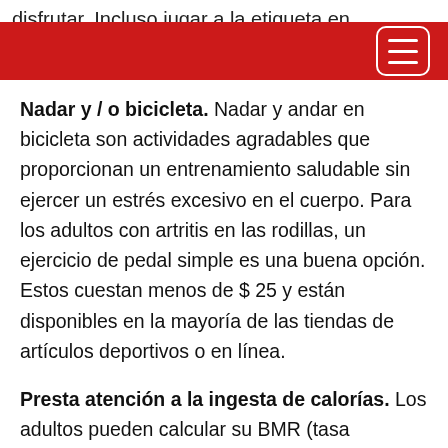disfrutar. Incluso jugar a la etiqueta en el patio
Nadar y / o bicicleta. Nadar y andar en bicicleta son actividades agradables que proporcionan un entrenamiento saludable sin ejercer un estrés excesivo en el cuerpo. Para los adultos con artritis en las rodillas, un ejercicio de pedal simple es una buena opción. Estos cuestan menos de $ 25 y están disponibles en la mayoría de las tiendas de artículos deportivos o en línea.
Presta atención a la ingesta de calorías. Los adultos pueden calcular su BMR (tasa metabólica basal), que es la cantidad de calorías necesarias para que el cuerpo funcione en reposo. Una vez que haya